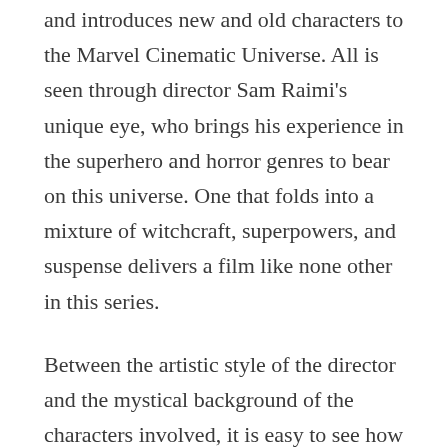and introduces new and old characters to the Marvel Cinematic Universe. All is seen through director Sam Raimi's unique eye, who brings his experience in the superhero and horror genres to bear on this universe. One that folds into a mixture of witchcraft, superpowers, and suspense delivers a film like none other in this series.
Between the artistic style of the director and the mystical background of the characters involved, it is easy to see how this narrative becomes mind-blowing and bizarre. Gone are the days of mere chase scenes and heroes duking it out with the villain as we move into a realm dominated by CGI and spiritualism. As